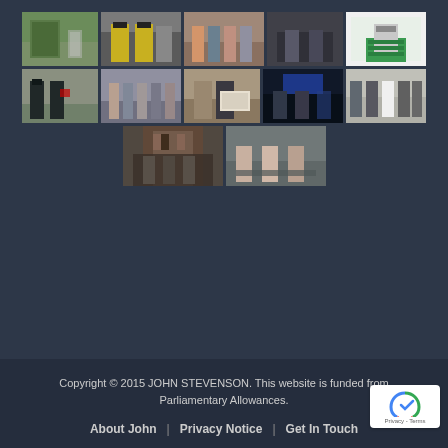[Figure (photo): Photo gallery grid showing 12 photos of John Stevenson MP at various events and meetings. Row 1: 5 photos including outdoor event, police officers, group meeting, formal meeting, and speaking at podium with green sign. Row 2: 5 photos including military ceremony, group in building, certificate presentation, conference/award, group photo with woman. Row 3: 2 photos including church/cathedral gathering and group sitting at table.]
Copyright © 2015 JOHN STEVENSON. This website is funded from Parliamentary Allowances.
About John | Privacy Notice | Get In Touch